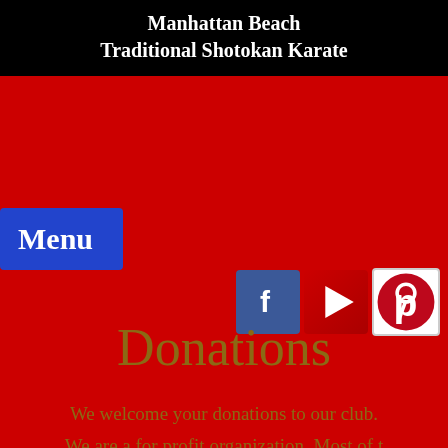Manhattan Beach Traditional Shotokan Karate
Menu
[Figure (logo): Social media icons: Facebook, YouTube (play button), Pinterest]
Donations
We welcome your donations to our club.
We are a for profit organization. Most of t...